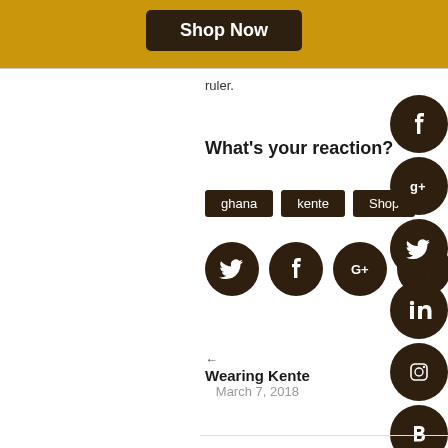[Figure (screenshot): Yellow banner with Shop Now button in dark rounded rectangle]
ruler.
What's your reaction?
ghana
kente
Shop
[Figure (infographic): Row of dark brown social share icon circles: Twitter, Facebook, Google+, Tumblr, Email]
[Figure (infographic): Vertical sidebar of dark brown social icon circles: Facebook, Google+, Twitter, LinkedIn, Instagram, Blogger]
← Wearing Kente
March 7, 2018
Royal Cloth →
March 7, 2018